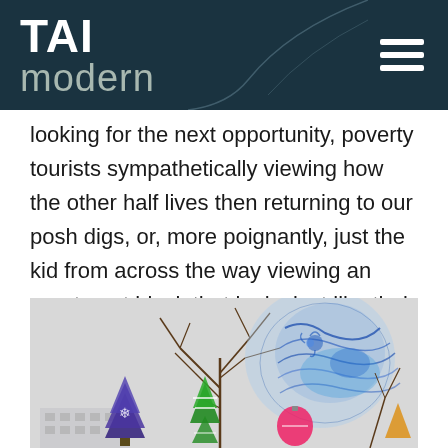TAI modern
looking for the next opportunity, poverty tourists sympathetically viewing how the other half lives then returning to our posh digs, or, more poignantly, just the kid from across the way viewing an apartment block that looks just like their apartment block?
[Figure (illustration): An artwork showing bare tree branches with colourful Christmas tree decorations (purple with snowflake, green tree-shaped air freshener), a blue decorative vase with floral pattern (bird motif), and a pink ornament, against a light grey background. A building facade is visible at the bottom.]